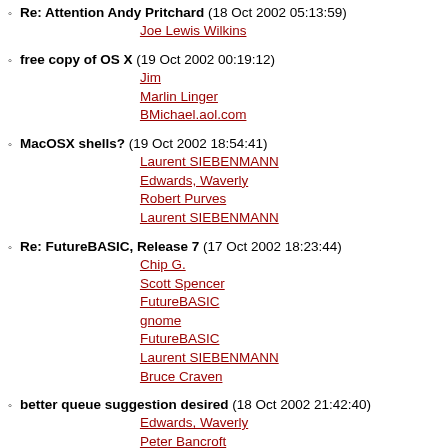Re: Attention Andy Pritchard (18 Oct 2002 05:13:59)
  Joe Lewis Wilkins
free copy of OS X (19 Oct 2002 00:19:12)
  Jim
  Marlin Linger
  BMichael.aol.com
MacOSX shells? (19 Oct 2002 18:54:41)
  Laurent SIEBENMANN
  Edwards, Waverly
  Robert Purves
  Laurent SIEBENMANN
Re: FutureBASIC, Release 7 (17 Oct 2002 18:23:44)
  Chip G.
  Scott Spencer
  FutureBASIC
  gnome
  FutureBASIC
  Laurent SIEBENMANN
  Bruce Craven
better queue suggestion desired (18 Oct 2002 21:42:40)
  Edwards, Waverly
  Peter Bancroft
  Ted spencer
  tedd
  Edwards, Waverly